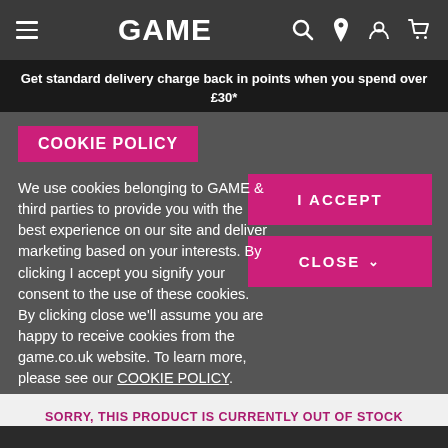GAME — navigation bar with hamburger menu, GAME logo, search, location, account, cart icons
Get standard delivery charge back in points when you spend over £30*
Find out more
COOKIE POLICY
We use cookies belonging to GAME & third parties to provide you with the best experience on our site and deliver marketing based on your interests. By clicking I accept you signify your consent to the use of these cookies. By clicking close we'll assume you are happy to receive cookies from the game.co.uk website. To learn more, please see our COOKIE POLICY.
I ACCEPT
CLOSE
SORRY, THIS PRODUCT IS CURRENTLY OUT OF STOCK